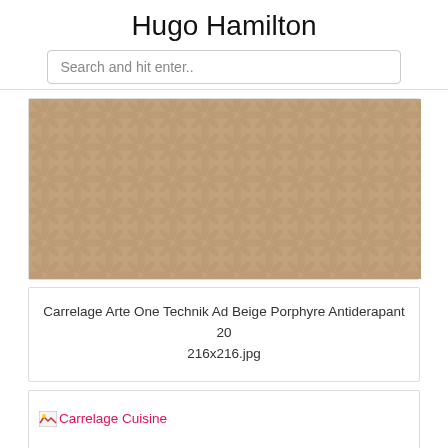Hugo Hamilton
Search and hit enter..
[Figure (photo): Beige ceramic tile with a repeating embossed geometric floral/star pattern, anti-slip texture surface.]
Carrelage Arte One Technik Ad Beige Porphyre Antiderapant 20
216x216.jpg
[Figure (photo): Broken image placeholder with pink text reading 'Carrelage Cuisine']